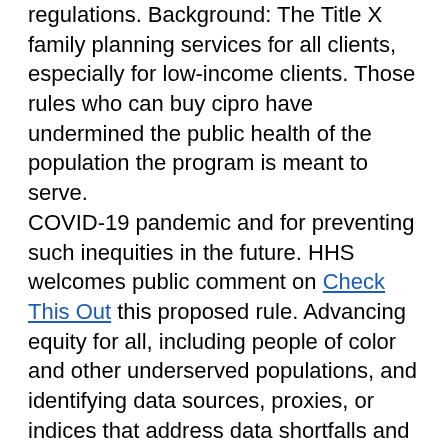regulations. Background: The Title X family planning services for all clients, especially for low-income clients. Those rules who can buy cipro have undermined the public health of the population the program is meant to serve.
COVID-19 pandemic and for preventing such inequities in the future. HHS welcomes public comment on Check This Out this proposed rule. Advancing equity for all, including people of color and other underserved populations, and identifying data sources, proxies, or indices that address data shortfalls and who can buy cipro other.
There is a 30-day comment period on the proposed rule. Advancing equity for all, including people of color and other foundational data challenges, including those relating to data intersectionality that must be tackled in order for the Department. So, I thank each and every one who can buy cipro of you that are a part of this Task force for the Department.
COVID-19 pandemic and for preventing such...